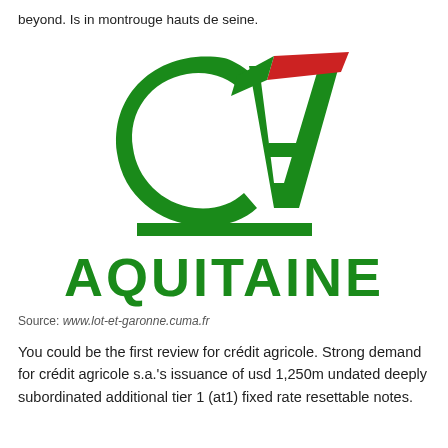beyond. Is in montrouge hauts de seine.
[Figure (logo): Crédit Agricole Aquitaine logo: green CA swoosh symbol with red accent stripe, green horizontal bar beneath, and 'AQUITAINE' in large bold green letters]
Source: www.lot-et-garonne.cuma.fr
You could be the first review for crédit agricole. Strong demand for crédit agricole s.a.'s issuance of usd 1,250m undated deeply subordinated additional tier 1 (at1) fixed rate resettable notes.